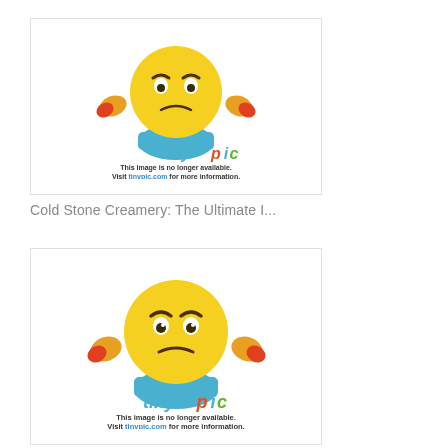[Figure (illustration): Tinypic placeholder image showing a frustrated yellow emoji character with hands on hips, with 'tinypic' logo and text 'This image is no longer available. Visit tinypic.com for more information.']
Cold Stone Creamery: The Ultimate I...
[Figure (illustration): Tinypic placeholder image showing a frustrated yellow emoji character with hands on hips, with 'tinypic' logo and text 'This image is no longer available. Visit tinypic.com for more information.']
NACI Comfort Food: New Look + Mothe...